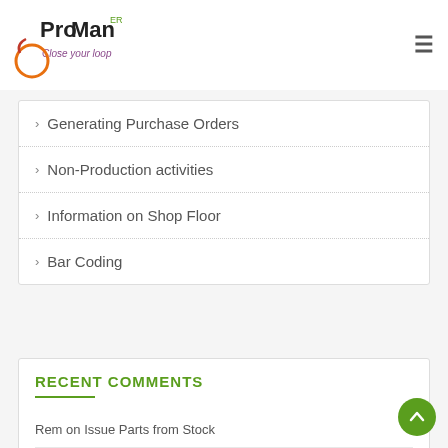ProMan ERP — Close your loop
Generating Purchase Orders
Non-Production activities
Information on Shop Floor
Bar Coding
RECENT COMMENTS
Rem on Issue Parts from Stock
KL of FL on Support